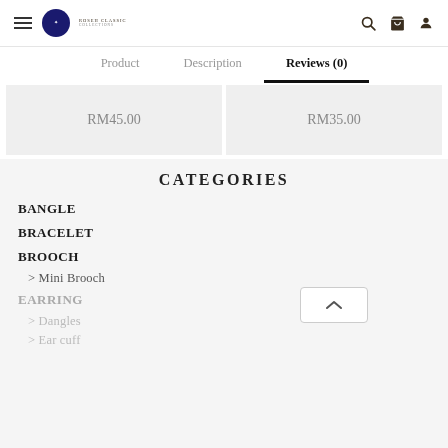Navigation header with hamburger menu, logo, search, cart, and user icons
Product | Description | Reviews (0)
RM45.00
RM35.00
CATEGORIES
BANGLE
BRACELET
BROOCH
> Mini Brooch
EARRING
> Dangles
> Ear cuff